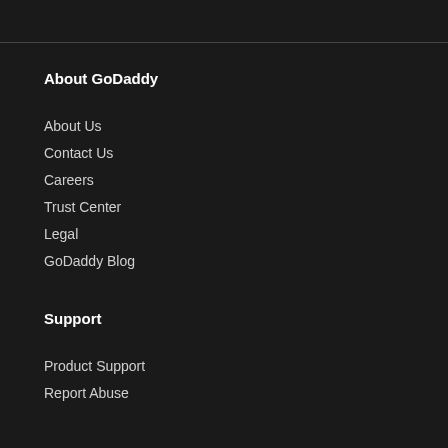About GoDaddy
About Us
Contact Us
Careers
Trust Center
Legal
GoDaddy Blog
Support
Product Support
Report Abuse